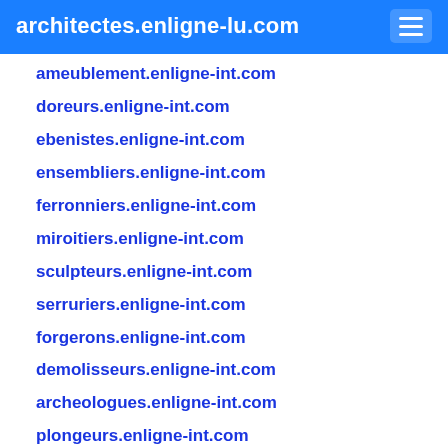architectes.enligne-lu.com
ameublement.enligne-int.com
doreurs.enligne-int.com
ebenistes.enligne-int.com
ensembliers.enligne-int.com
ferronniers.enligne-int.com
miroitiers.enligne-int.com
sculpteurs.enligne-int.com
serruriers.enligne-int.com
forgerons.enligne-int.com
demolisseurs.enligne-int.com
archeologues.enligne-int.com
plongeurs.enligne-int.com
scaphandriers.enligne-int.com